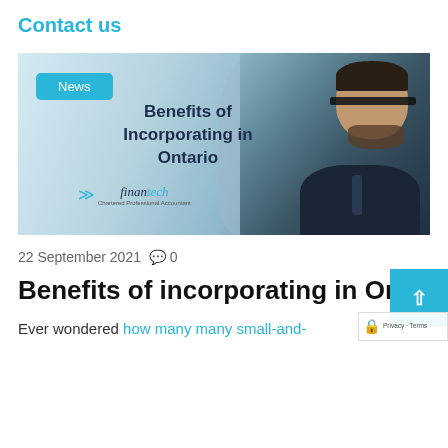Contact us
[Figure (photo): Banner image with 'Benefits of Incorporating in Ontario' text, Finantech Chartered Professional Accountant logo on left, and a bearded man wearing glasses looking down on the right. A 'News' badge in teal appears top left of the banner.]
22 September 2021  💬 0
Benefits of incorporating in Ontario
Ever wondered how many many small-and-